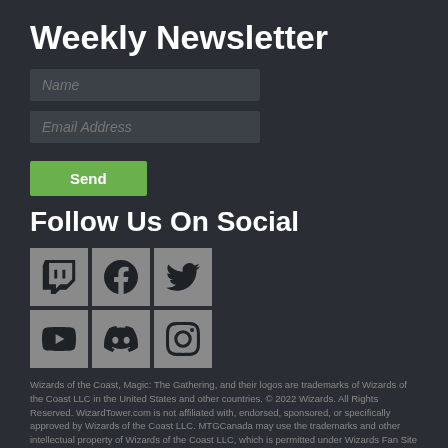Weekly Newsletter
[Figure (other): Newsletter signup form with Name and Email Address fields and a Send button]
Follow Us On Social
[Figure (other): Social media icons grid: Twitch, Facebook, Twitter (top row); YouTube, Discord, Instagram (bottom row)]
Wizards of the Coast, Magic: The Gathering, and their logos are trademarks of Wizards of the Coast LLC in the United States and other countries. © 2022 Wizards. All Rights Reserved. WizardTower.com is not affiliated with, endorsed, sponsored, or specifically approved by Wizards of the Coast LLC. MTGCanada may use the trademarks and other intellectual property of Wizards of the Coast LLC, which is permitted under Wizards Fan Site Policy